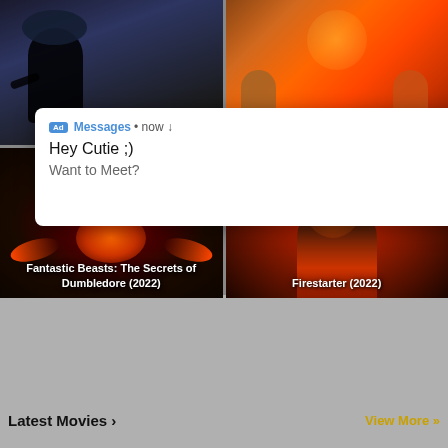[Figure (photo): Movie poster thumbnail for Memory (2022) — dark silhouette of a man with a gun against a dark blue-grey background]
[Figure (photo): Movie poster thumbnail for Chip 'n Dale: Rescue Rangers (2022) — animated chipmunks in action against fiery background]
[Figure (screenshot): Ad overlay notification: Messages app, now, Hey Cutie ;) Want to Meet? with a thumbnail image and close button]
[Figure (photo): Movie poster thumbnail for Fantastic Beasts: The Secrets of Dumbledore (2022) — phoenix against dark red background with logo text]
[Figure (photo): Movie poster thumbnail for Firestarter (2022) — girl with fiery hair against flames with FIRESTARTER logo]
Latest Movies >
View More »